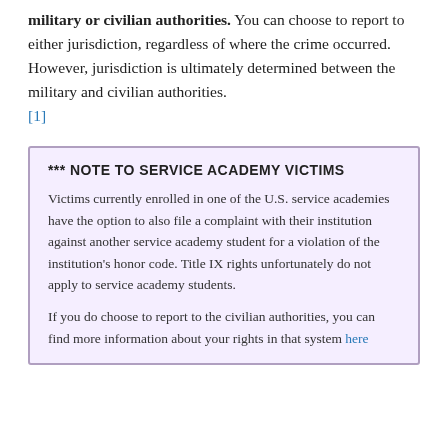military or civilian authorities. You can choose to report to either jurisdiction, regardless of where the crime occurred. However, jurisdiction is ultimately determined between the military and civilian authorities. [1]
*** NOTE TO SERVICE ACADEMY VICTIMS

Victims currently enrolled in one of the U.S. service academies have the option to also file a complaint with their institution against another service academy student for a violation of the institution's honor code. Title IX rights unfortunately do not apply to service academy students.

If you do choose to report to the civilian authorities, you can find more information about your rights in that system here